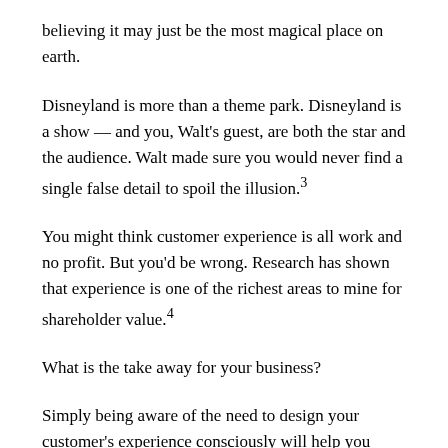believing it may just be the most magical place on earth.
Disneyland is more than a theme park. Disneyland is a show — and you, Walt's guest, are both the star and the audience. Walt made sure you would never find a single false detail to spoil the illusion.³
You might think customer experience is all work and no profit. But you'd be wrong. Research has shown that experience is one of the richest areas to mine for shareholder value.⁴
What is the take away for your business?
Simply being aware of the need to design your customer's experience consciously will help you improve it.
Take it further by considering some of the best businesses and customer experience from your industry or further.